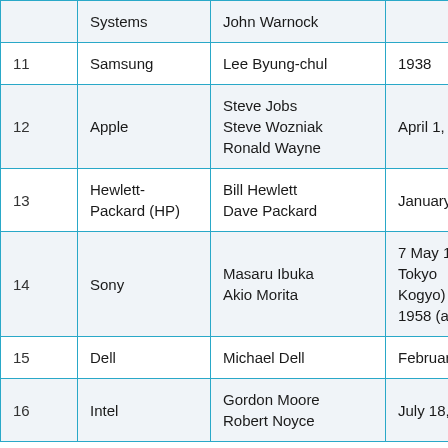| # | Company | Founder(s) | Founded |
| --- | --- | --- | --- |
|  | Systems | John Warnock |  |
| 11 | Samsung | Lee Byung-chul | 1938 |
| 12 | Apple | Steve Jobs
Steve Wozniak
Ronald Wayne | April 1, 1976 |
| 13 | Hewlett-Packard (HP) | Bill Hewlett
Dave Packard | January 1, 1939 |
| 14 | Sony | Masaru Ibuka
Akio Morita | 7 May 1946 (as Tokyo Tsushin Kogyo)
1958 (as Sony) |
| 15 | Dell | Michael Dell | February 1, 1984 |
| 16 | Intel | Gordon Moore
Robert Noyce | July 18, 1968 |